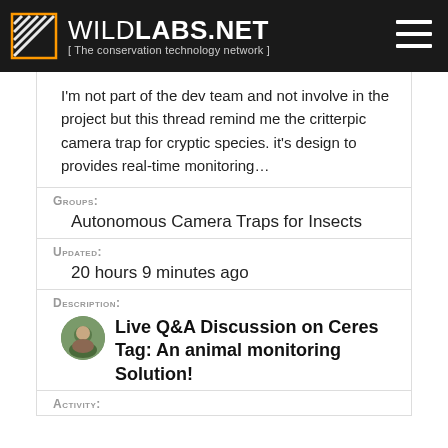WILDLABS.NET [ The conservation technology network ]
I'm not part of the dev team and not involve in the project but this thread remind me the critterpic camera trap for cryptic species. it's design to provides real-time monitoring…
Groups:
Autonomous Camera Traps for Insects
Updated:
20 hours 9 minutes ago
Description:
Live Q&A Discussion on Ceres Tag: An animal monitoring Solution!
Activity: